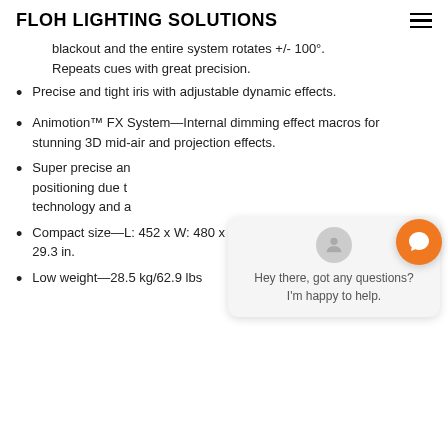FLOH LIGHTING SOLUTIONS
blackout and the entire system rotates +/- 100°. Repeats cues with great precision.
Precise and tight iris with adjustable dynamic effects.
Animotion™ FX System—Internal dimming effect macros for stunning 3D mid-air and projection effects.
Super precise and [...] positioning due to [...] technology and a[...]
Compact size—L: 452 x W: 480 x H: 745 mm / L: 17.8 x W: 18.9 x H: 29.3 in.
Low weight—28.5 kg/62.9 lbs